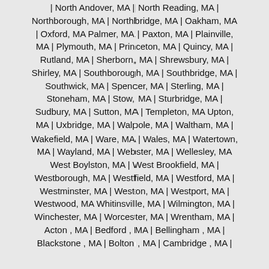| North Andover, MA | North Reading, MA | Northborough, MA | Northbridge, MA | Oakham, MA | Oxford, MA Palmer, MA | Paxton, MA | Plainville, MA | Plymouth, MA | Princeton, MA | Quincy, MA | Rutland, MA | Sherborn, MA | Shrewsbury, MA | Shirley, MA | Southborough, MA | Southbridge, MA | Southwick, MA | Spencer, MA | Sterling, MA | Stoneham, MA | Stow, MA | Sturbridge, MA | Sudbury, MA | Sutton, MA | Templeton, MA Upton, MA | Uxbridge, MA | Walpole, MA | Waltham, MA | Wakefield, MA | Ware, MA | Wales, MA | Watertown, MA | Wayland, MA | Webster, MA | Wellesley, MA West Boylston, MA | West Brookfield, MA | Westborough, MA | Westfield, MA | Westford, MA | Westminster, MA | Weston, MA | Westport, MA | Westwood, MA Whitinsville, MA | Wilmington, MA | Winchester, MA | Worcester, MA | Wrentham, MA | Acton , MA | Bedford , MA | Bellingham , MA | Blackstone , MA | Bolton , MA | Cambridge , MA |